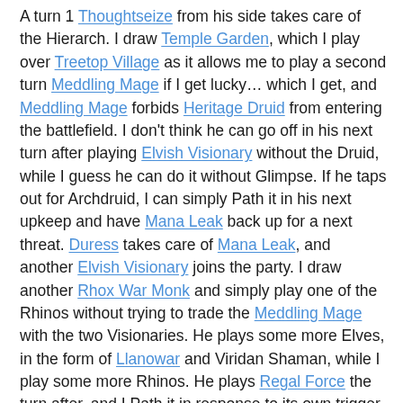A turn 1 Thoughtseize from his side takes care of the Hierarch. I draw Temple Garden, which I play over Treetop Village as it allows me to play a second turn Meddling Mage if I get lucky… which I get, and Meddling Mage forbids Heritage Druid from entering the battlefield. I don't think he can go off in his next turn after playing Elvish Visionary without the Druid, while I guess he can do it without Glimpse. If he taps out for Archdruid, I can simply Path it in his next upkeep and have Mana Leak back up for a next threat. Duress takes care of Mana Leak, and another Elvish Visionary joins the party. I draw another Rhox War Monk and simply play one of the Rhinos without trying to trade the Meddling Mage with the two Visionaries. He plays some more Elves, in the form of Llanowar and Viridan Shaman, while I play some more Rhinos. He plays Regal Force the turn after, and I Path it in response to its own trigger so he would need to sacrifice some part of his board to survive the next turn. He concedes after drawing the cards.